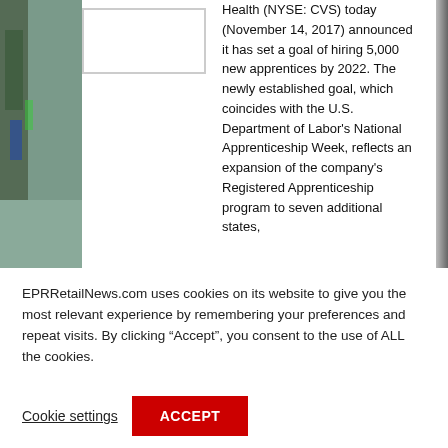[Figure (photo): Partial view of a retail/pharmacy store interior on the left side, partially cropped]
[Figure (logo): White rectangle box placeholder for CVS Health logo]
Health (NYSE: CVS) today (November 14, 2017) announced it has set a goal of hiring 5,000 new apprentices by 2022. The newly established goal, which coincides with the U.S. Department of Labor's National Apprenticeship Week, reflects an expansion of the company's Registered Apprenticeship program to seven additional states,
EPRRetailNews.com uses cookies on its website to give you the most relevant experience by remembering your preferences and repeat visits. By clicking “Accept”, you consent to the use of ALL the cookies.
Cookie settings
ACCEPT